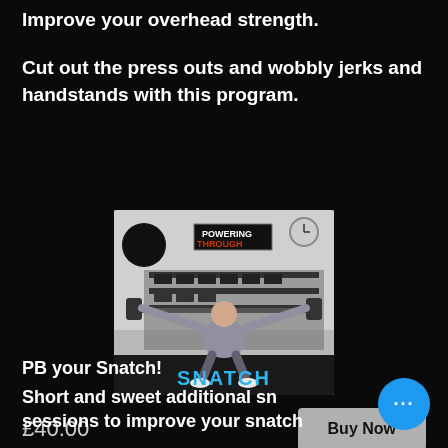Improve your overhead strength.
Cut out the press outs and wobbly jerks and handstands with this program.
[Figure (photo): A person performing a snatch lift in a gym with dumbbells in the background. Text 'POWERING THROUGH' on a sign and 'SNATCH' in blue at the bottom of the image.]
£40.00
Buy Now
PB your Snatch!
Short and sweet additional snatch sessions to improve your snatch